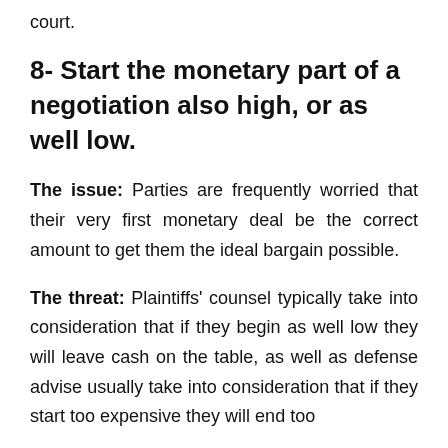court.
8- Start the monetary part of a negotiation also high, or as well low.
The issue: Parties are frequently worried that their very first monetary deal be the correct amount to get them the ideal bargain possible.
The threat: Plaintiffs' counsel typically take into consideration that if they begin as well low they will leave cash on the table, as well as defense advise usually take into consideration that if they start too expensive they will end too